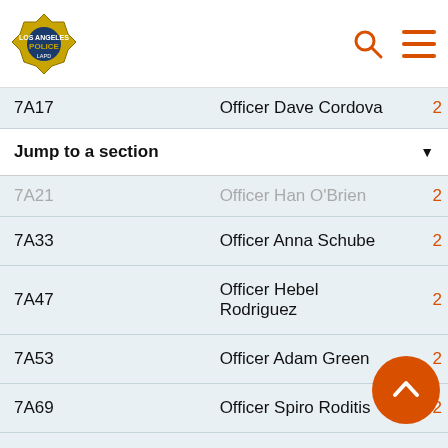LAPD logo, search icon, menu icon
| Unit | Officer |  |
| --- | --- | --- |
| 7A17 | Officer Dave Cordova | 2 |
| 7A21 | Officer Han O'Brien | 2 |
| 7A33 | Officer Anna Schube | 2 |
| 7A47 | Officer Hebel Rodriguez | 2 |
| 7A53 | Officer Adam Green | 2 |
| 7A69 | Officer Spiro Roditis | 2 |
| 7A73 | Officer Tim Estevez | 2 |
| 7A85 | Officer Hector Marque... | 2 |
Jump to a section